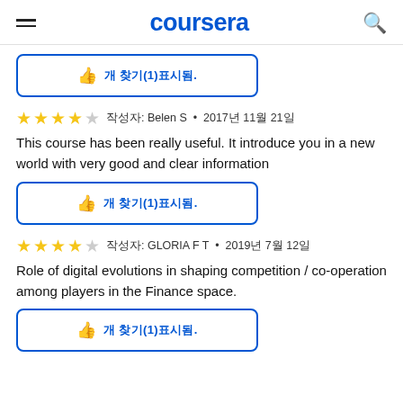coursera
[Figure (other): Like/helpful button with thumbs up icon and Korean text indicating 1 person found helpful]
This course has been really useful. It introduce you in a new world with very good and clear information
By Belen S • 2017년 11월 21일
[Figure (other): Like/helpful button with thumbs up icon and Korean text indicating 1 person found helpful]
Role of digital evolutions in shaping competition / co-operation among players in the Finance space.
By GLORIA F T • 2019년 7월 12일
[Figure (other): Like/helpful button with thumbs up icon and Korean text indicating 1 person found helpful]